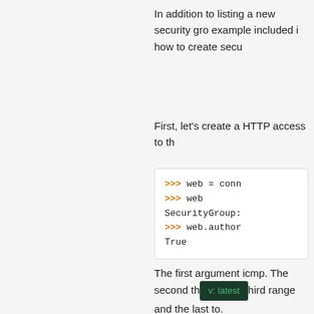In addition to listing a new security group, the example included in how to create secu
First, let's create a HTTP access to th
>>> web = conn
>>> web
SecurityGroup:
>>> web.author
True
The first argument icmp. The second the hird range and the last to.